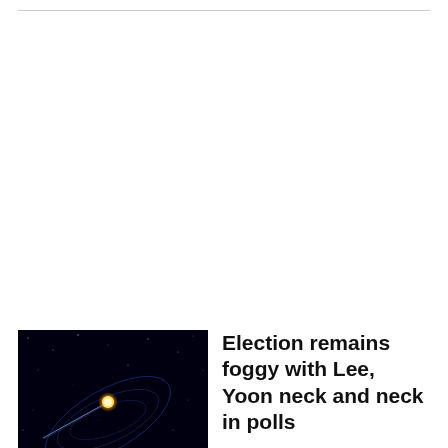[Figure (photo): Dark space illustration with a glowing yellow/gold orb and blue streaking light trails against a black background, suggesting a solar system or space navigation graphic.]
Election remains foggy with Lee, Yoon neck and neck in polls